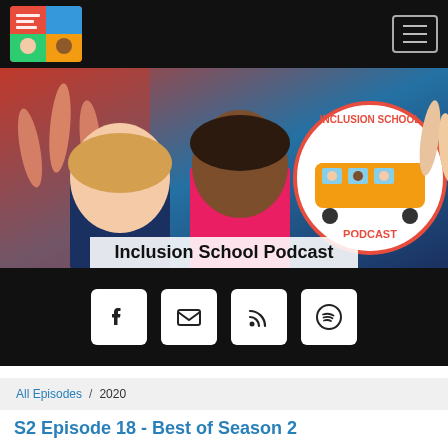Inclusion School Podcast
[Figure (photo): Navigation bar with podcast logo on the left and hamburger menu on the right, black background]
[Figure (photo): Hero banner showing two women hosts with colorful illustrated background of raised hands and red/blue colors, plus Inclusion School Podcast circular logo on the right]
Inclusion School Podcast
[Figure (infographic): Black social media bar with four white square buttons: Facebook (f), Email (envelope), RSS feed, and Spotify icons]
All Episodes / 2020
S2 Episode 18 - Best of Season 2
[Figure (screenshot): Audio player widget showing INCLUSION SCHOOL PODCAST label, episode title S2 Episode 18 - Best of Season 2, play button on left, progress bar, and controls at bottom including timestamp 00:00:00]
INCLUSION SCHOOL PODCAST
S2 Episode 18 - Best of Season 2
00:00:00